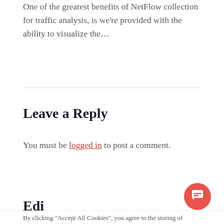One of the greatest benefits of NetFlow collection for traffic analysis, is we're provided with the ability to visualize the...
Leave a Reply
You must be logged in to post a comment.
Edi...
By clicking “Accept All Cookies”, you agree to the storing of